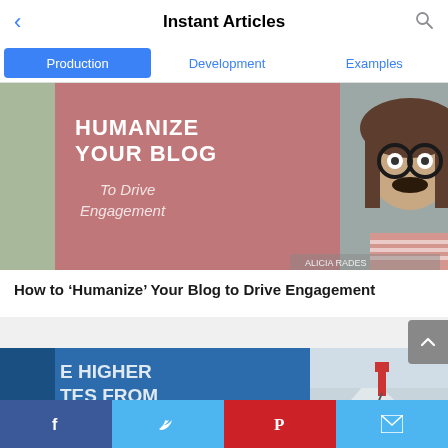Instant Articles
Production | Development | Examples
[Figure (photo): Blog post thumbnail showing a woman wearing novelty glasses and mustache with pink background. Text overlay reads HUMANIZE YOUR BLOG To Drive Engagement. Credit: ALICIA RADES]
How to ‘Humanize’ Your Blog to Drive Engagement
[Figure (photo): Partial blog post thumbnail with blue overlay text reading E HIGHER TES FROM ebook tising, alongside a photo of a mountain climber in red jacket on snowy peak]
Facebook | Twitter | Pinterest | Email